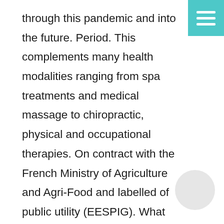through this pandemic and into the future. Period. This complements many health modalities ranging from spa treatments and medical massage to chiropractic, physical and occupational therapies. On contract with the French Ministry of Agriculture and Agri-Food and labelled of public utility (EESPIG). What score do I need to get to pass the test? Thus, FEANI represents the interests of over 6 million professional engineers in Europe. ACE Teaching Fellows forms talented, faith-filled college graduates to renew and transform Catholic school classrooms. Exercise Database & Library. ENAEE aims to enhance the quality of the education of engineering graduates and support their ability to fulfil the needs of economies and of society. Access: We will help enable access to high